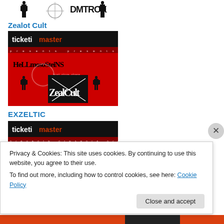[Figure (illustration): Small silhouette figures and stylized band logo at the top of the page]
Zealot Cult
[Figure (screenshot): Ticketmaster event page for Zealot Cult / HellMesoStein show, red and black themed poster with band name and Zealot Cult logo]
EXZELTIC
[Figure (screenshot): Ticketmaster event page header for EXZELTIC, red and black themed]
Privacy & Cookies: This site uses cookies. By continuing to use this website, you agree to their use.
To find out more, including how to control cookies, see here: Cookie Policy